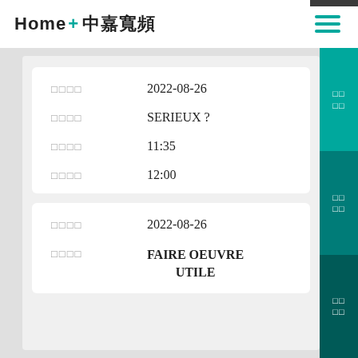Home+ 中嘉寬頻
| 欄位 | 內容 |
| --- | --- |
| □□□□ | 2022-08-26 |
| □□□□ | SERIEUX ? |
| □□□□ | 11:35 |
| □□□□ | 12:00 |
| 欄位 | 內容 |
| --- | --- |
| □□□□ | 2022-08-26 |
| □□□□ | FAIRE OEUVRE UTILE |